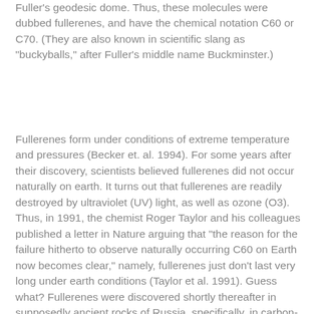Fuller's geodesic dome. Thus, these molecules were dubbed fullerenes, and have the chemical notation C60 or C70. (They are also known in scientific slang as "buckyballs," after Fuller's middle name Buckminster.)
Fullerenes form under conditions of extreme temperature and pressures (Becker et. al. 1994). For some years after their discovery, scientists believed fullerenes did not occur naturally on earth. It turns out that fullerenes are readily destroyed by ultraviolet (UV) light, as well as ozone (O3). Thus, in 1991, the chemist Roger Taylor and his colleagues published a letter in Nature arguing that "the reason for the failure hitherto to observe naturally occurring C60 on Earth now becomes clear," namely, fullerenes just don't last very long under earth conditions (Taylor et al. 1991). Guess what? Fullerenes were discovered shortly thereafter in supposedly ancient rocks of Russia, specifically, in carbon-rich shungite (a curious metamorphic rock) of Precambrian age (Buseck et al. 1992). They were then discovered in much older formations, putatively of 1.85 billion years age (Becker et. al. 1994), as well as at the Cretaceous-Tertiary boundary (Heymann et al. 1994). Interestingly, however, fullerenes still appear to be unstable